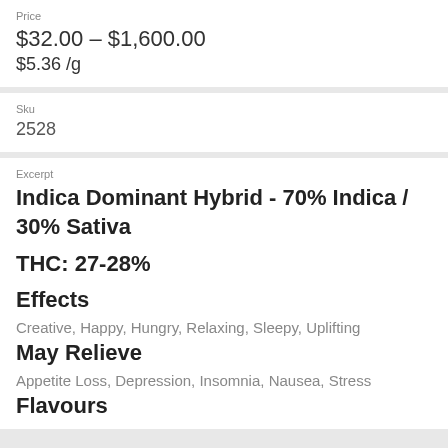Price
$32.00 – $1,600.00
$5.36 /g
Sku
2528
Excerpt
Indica Dominant Hybrid - 70% Indica / 30% Sativa
THC: 27-28%
Effects
Creative, Happy, Hungry, Relaxing, Sleepy, Uplifting
May Relieve
Appetite Loss, Depression, Insomnia, Nausea, Stress
Flavours